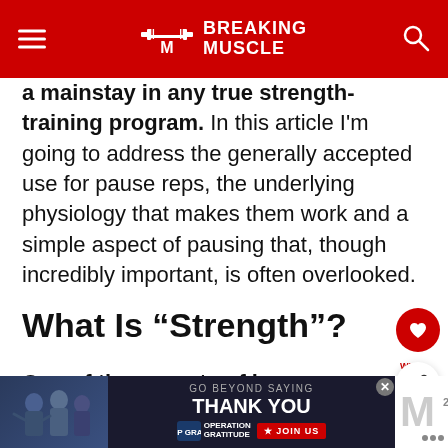BREAKING MUSCLE
a mainstay in any true strength-training program. In this article I'm going to address the generally accepted use for pause reps, the underlying physiology that makes them work and a simple aspect of pausing that, though incredibly important, is often overlooked.
What Is “Strength”?
One of the aspects of human performance that has always fascinated me is the variety of strength and the number of